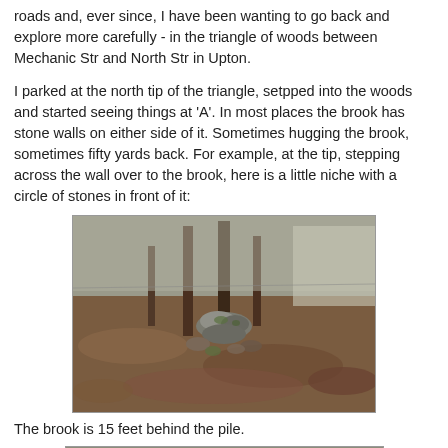roads and, ever since, I have been wanting to go back and explore more carefully - in the triangle of woods between Mechanic Str and North Str in Upton.
I parked at the north tip of the triangle, setpped into the woods and started seeing things at 'A'. In most places the brook has stone walls on either side of it. Sometimes hugging the brook, sometimes fifty yards back. For example, at the tip, stepping across the wall over to the brook, here is a little niche with a circle of stones in front of it:
[Figure (photo): Photograph of a woodland floor covered in fallen leaves, with a small pile or arrangement of moss-covered stones in the center foreground. Trees are visible in the background.]
The brook is 15 feet behind the pile.
[Figure (photo): Partial photograph at the bottom of the page showing a wooded area, cut off.]